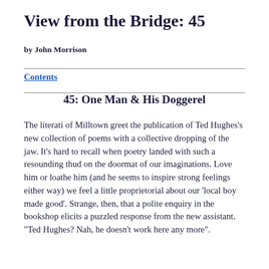View from the Bridge: 45
by John Morrison
45: One Man & His Doggerel
The literati of Milltown greet the publication of Ted Hughes's new collection of poems with a collective dropping of the jaw. It's hard to recall when poetry landed with such a resounding thud on the doormat of our imaginations. Love him or loathe him (and he seems to inspire strong feelings either way) we feel a little proprietorial about our 'local boy made good'. Strange, then, that a polite enquiry in the bookshop elicits a puzzled response from the new assistant. "Ted Hughes? Nah, he doesn't work here any more".